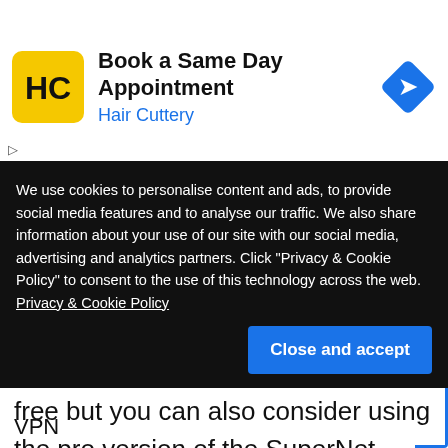[Figure (screenshot): Hair Cuttery advertisement banner: yellow square logo with HC initials, text 'Book a Same Day Appointment' and 'Hair Cuttery' in blue, blue diamond navigation arrow icon on right]
nclusion
Among many free VPNs SuperNet VPN is mostly trusted by many users online. You may use the app free but you can also consider using the pro version of the SuperNet VPN for you to unlock many
We use cookies to personalise content and ads, to provide social media features and to analyse our traffic. We also share information about your use of our site with our social media, advertising and analytics partners. Click "Privacy & Cookie Policy" to consent to the use of this technology across the web. Privacy & Cookie Policy
VPN